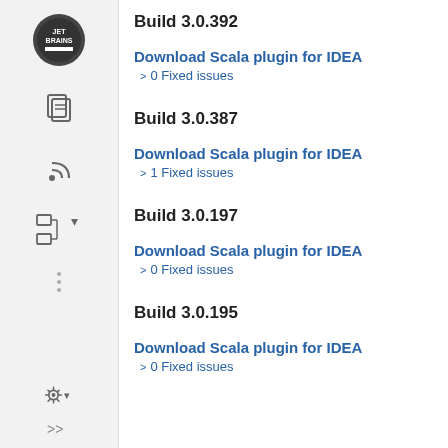Build 3.0.392
Download Scala plugin for IDEA
> 0 Fixed issues
Build 3.0.387
Download Scala plugin for IDEA
> 1 Fixed issues
Build 3.0.197
Download Scala plugin for IDEA
> 0 Fixed issues
Build 3.0.195
Download Scala plugin for IDEA
> 0 Fixed issues